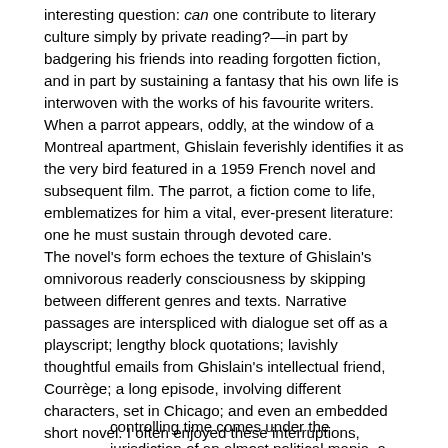interesting question: can one contribute to literary culture simply by private reading?—in part by badgering his friends into reading forgotten fiction, and in part by sustaining a fantasy that his own life is interwoven with the works of his favourite writers. When a parrot appears, oddly, at the window of a Montreal apartment, Ghislain feverishly identifies it as the very bird featured in a 1959 French novel and subsequent film. The parrot, a fiction come to life, emblematizes for him a vital, ever-present literature: one he must sustain through devoted care.
The novel's form echoes the texture of Ghislain's omnivorous readerly consciousness by skipping between different genres and texts. Narrative passages are interspliced with dialogue set off as a playscript; lengthy block quotations; lavishly thoughtful emails from Ghislain's intellectual friend, Courrège; a long episode, involving different characters, set in Chicago; and even an embedded short novel. I often enjoyed these interruptions, because Ghislain is irritatingly self-righteous and tiringly abstract in expression. When his lover slights him by being late for a date, he muses, characteristically, that
controlling time comes under the jurisdiction of an almost political mania, a materialist mania that consists in passing